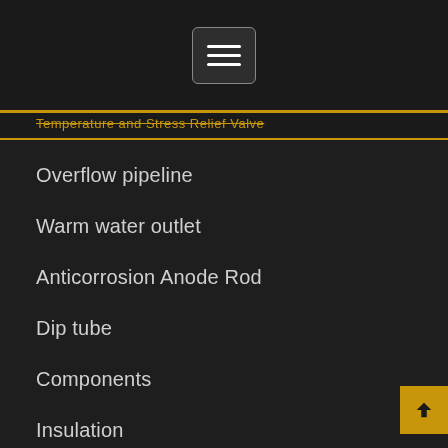Temperature and Stress Relief Valve
Overflow pipeline
Warm water outlet
Anticorrosion Anode Rod
Dip tube
Components
Insulation
Drain pipes shutoff
Thermostat or control shutoff
Burner